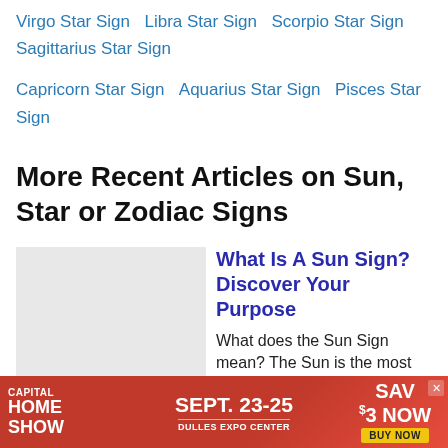Virgo Star Sign   Libra Star Sign   Scorpio Star Sign   Sagittarius Star Sign
Capricorn Star Sign   Aquarius Star Sign   Pisces Star Sign
More Recent Articles on Sun, Star or Zodiac Signs
What Is A Sun Sign? Discover Your Purpose
What does the Sun Sign mean? The Sun is the most
[Figure (other): Advertisement banner: Capital Home Show, Sept. 23-25, Dulles Expo Center, Save $3 Now, Buy Now]